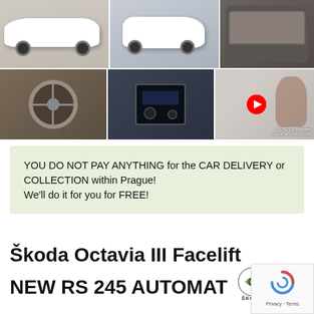[Figure (photo): Grid of 6 car photos showing Skoda Octavia III Facelift RS 245: exterior side views (white car), interior steering wheel, infotainment screen, and a woman in the driver seat with a YouTube play button overlay]
YOU DO NOT PAY ANYTHING for the CAR DELIVERY or COLLECTION within Prague! We'll do it for you for FREE!
Škoda Octavia III Facelift NEW RS 245 AUTOMAT
[Figure (logo): Škoda winged arrow logo with ŠKODA text beneath]